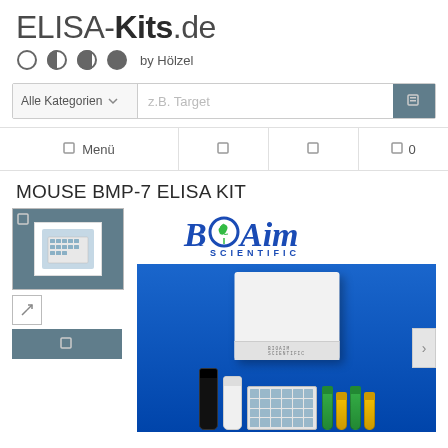ELISA-Kits.de by Hölzel
Alle Kategorien  z.B. Target
Menü  0
MOUSE BMP-7 ELISA KIT
[Figure (photo): Thumbnail image of ELISA kit plate and components]
[Figure (photo): Bio Aim Scientific logo and product photo showing ELISA kit box, reagent vials, microplate, and sample tubes on blue background]